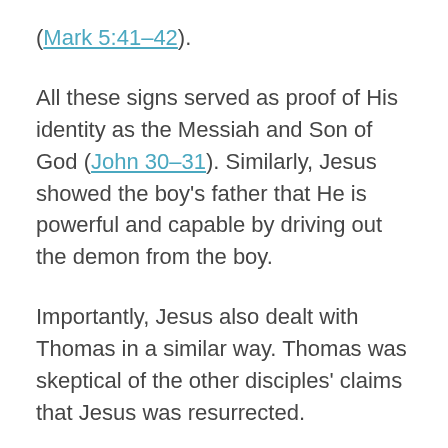(Mark 5:41-42).
All these signs served as proof of His identity as the Messiah and Son of God (John 30-31). Similarly, Jesus showed the boy's father that He is powerful and capable by driving out the demon from the boy.
Importantly, Jesus also dealt with Thomas in a similar way. Thomas was skeptical of the other disciples' claims that Jesus was resurrected.
He claimed, “Unless I see the nail marks in